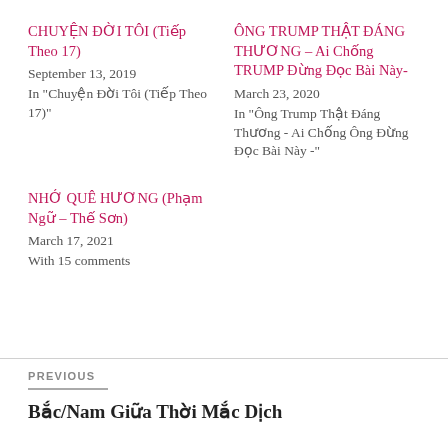CHUYỆN ĐỜI TÔI (Tiếp Theo 17)
September 13, 2019
In "Chuyện Đời Tôi (Tiếp Theo 17)"
ÔNG TRUMP THẬT ĐÁNG THƯƠNG – Ai Chống TRUMP Đừng Đọc Bài Này-
March 23, 2020
In "Ông Trump Thật Đáng Thương - Ai Chống Ông Đừng Đọc Bài Này -"
NHỚ QUÊ HƯƠNG (Phạm Ngữ – Thế Sơn)
March 17, 2021
With 15 comments
PREVIOUS
Bắc/Nam Giữa Thời Mắc Dịch